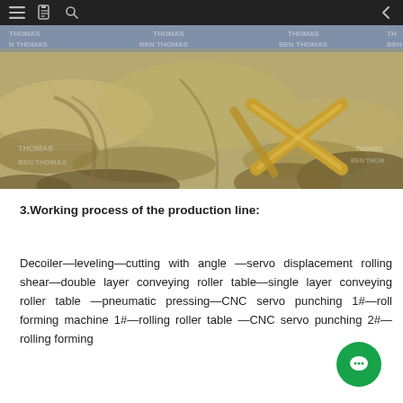Navigation toolbar with menu, document, search, and back icons
[Figure (photo): Outdoor photo of a sandy/dirt field or construction site with a wooden cross-shaped structure visible in the mid-right area. Multiple watermark texts reading 'THOMAS' and 'BEN THOMAS' are overlaid across the image.]
3.Working process of the production line:
Decoiler—leveling—cutting with angle —servo displacement rolling shear—double layer conveying roller table—single layer conveying roller table —pneumatic pressing—CNC servo punching 1#—roll forming machine 1#—rolling roller table —CNC servo punching 2#—rolling forming